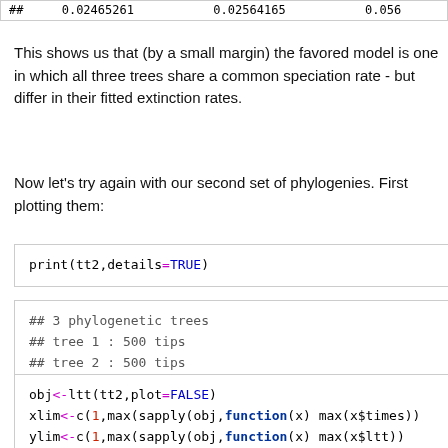| ## |  |  |
| --- | --- | --- |
| ## | 0.02465261 | 0.02564165 | 0.056 |
This shows us that (by a small margin) the favored model is one in which all three trees share a common speciation rate - but differ in their fitted extinction rates.
Now let's try again with our second set of phylogenies. First plotting them: